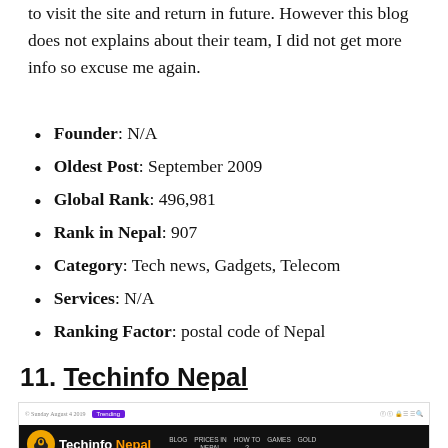to visit the site and return in future. However this blog does not explains about their team, I did not get more info so excuse me again.
Founder: N/A
Oldest Post: September 2009
Global Rank: 496,981
Rank in Nepal: 907
Category: Tech news, Gadgets, Telecom
Services: N/A
Ranking Factor: postal code of Nepal
11. Techinfo Nepal
[Figure (screenshot): Screenshot of Techinfo Nepal website showing logo, navigation bar with BLOG, PRICES IN NEPAL, HOW TO, GAMES, GOLD links, dark/light mode toggle, category pills (Apple, Huawei, Nokia, OnePlus, Oppo, Redmi, Samsung, Xiaomi), and partial article images]